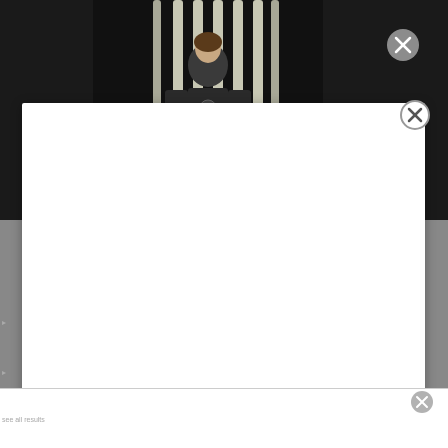[Figure (screenshot): Screenshot of a web page showing a movie article about 'Rogue One' with a modal dialog box open. The background shows a dark-themed article page with a movie still from Rogue One: A Star Wars Story featuring the main character in a dark outfit with the caption 'ROGUE ONE WILL BE HEADING BACK' overlaid on the image. A large white modal/popup dialog is open over the content, and a smaller white panel appears at the bottom of the screen, each with an X close button.]